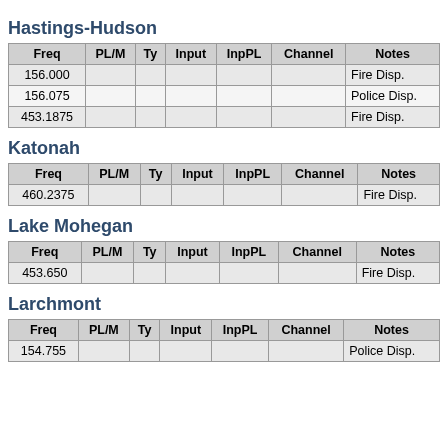Hastings-Hudson
| Freq | PL/M | Ty | Input | InpPL | Channel | Notes |
| --- | --- | --- | --- | --- | --- | --- |
| 156.000 |  |  |  |  |  | Fire Disp. |
| 156.075 |  |  |  |  |  | Police Disp. |
| 453.1875 |  |  |  |  |  | Fire Disp. |
Katonah
| Freq | PL/M | Ty | Input | InpPL | Channel | Notes |
| --- | --- | --- | --- | --- | --- | --- |
| 460.2375 |  |  |  |  |  | Fire Disp. |
Lake Mohegan
| Freq | PL/M | Ty | Input | InpPL | Channel | Notes |
| --- | --- | --- | --- | --- | --- | --- |
| 453.650 |  |  |  |  |  | Fire Disp. |
Larchmont
| Freq | PL/M | Ty | Input | InpPL | Channel | Notes |
| --- | --- | --- | --- | --- | --- | --- |
| 154.755 |  |  |  |  |  | Police Disp. |